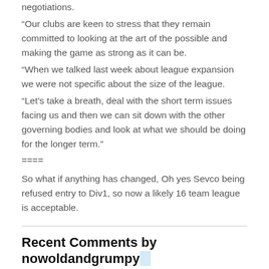negotiations.
“Our clubs are keen to stress that they remain committed to looking at the art of the possible and making the game as strong as it can be.
“When we talked last week about league expansion we were not specific about the size of the league.
“Let’s take a breath, deal with the short term issues facing us and then we can sit down with the other governing bodies and look at what we should be doing for the longer term.”
====
So what if anything has changed, Oh yes Sevco being refused entry to Div1, so now a likely 16 team league is acceptable.
Recent Comments by nowoldandgrumpy